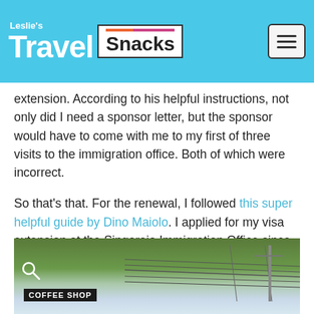Leslie's Travel Snacks
extension. According to his helpful instructions, not only did I need a sponsor letter, but the sponsor would have to come with me to my first of three visits to the immigration office. Both of which were incorrect.
So that's that. For the renewal, I followed this super helpful guide by Dino Maiolo. I applied for my visa extension at the Singaraja Immigration Office since I'm staying in North Bali and the instructions were totally accurate other than the fact that all visits use counter A in Singaraja.
[Figure (photo): Street-level photo showing a coffee shop sign reading 'COFFEE SHOP' with trees and electrical wires in the background, partially cropped.]